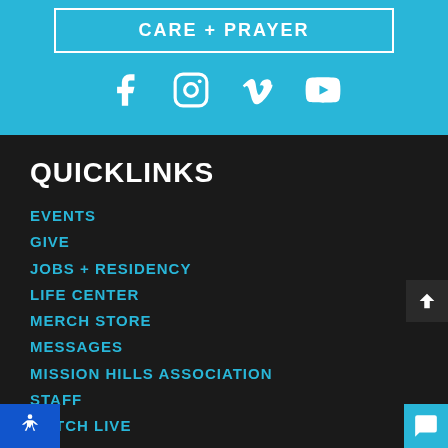CARE + PRAYER
[Figure (infographic): Social media icons: Facebook, Instagram, Vimeo, YouTube in white on cyan background]
QUICKLINKS
EVENTS
GIVE
JOBS + RESIDENCY
LIFE CENTER
MERCH STORE
MESSAGES
MISSION HILLS ASSOCIATION
STAFF
WATCH LIVE